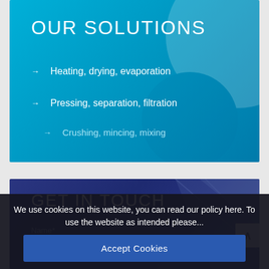OUR SOLUTIONS
Heating, drying, evaporation
Pressing, separation, filtration
Crushing, mincing, mixing
GET IN TOUCH
Name*
We use cookies on this website, you can read our policy here. To use the website as intended please...
Accept Cookies